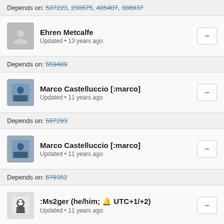Depends on: 537223, 230675, 405407, 386937
Ehren Metcalfe
Updated • 13 years ago
Depends on: 559489
Marco Castelluccio [:marco]
Updated • 11 years ago
Depends on: 597293
Marco Castelluccio [:marco]
Updated • 11 years ago
Depends on: 679352
:Ms2ger (he/him; UTC+1/+2)
Updated • 11 years ago
Depends on: 705427
:Ms2ger (he/him; UTC+1/+2)